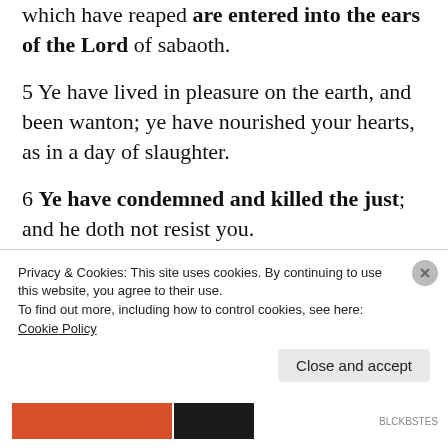which have reaped are entered into the ears of the Lord of sabaoth.
5 Ye have lived in pleasure on the earth, and been wanton; ye have nourished your hearts, as in a day of slaughter.
6 Ye have condemned and killed the just; and he doth not resist you.
7 Be patient therefore, brethren, unto the coming of the Lord. Behold, the husbandman waiteth for the precious fruit of the earth, and
Privacy & Cookies: This site uses cookies. By continuing to use this website, you agree to their use. To find out more, including how to control cookies, see here: Cookie Policy
Close and accept